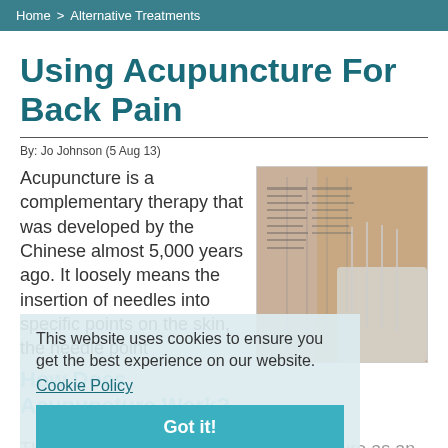Home > Alternative Treatments
Using Acupuncture For Back Pain
By: Jo Johnson (5 Aug 13)
Acupuncture is a complementary therapy that was developed by the Chinese almost 5,000 years ago. It loosely means the insertion of needles into specific points on the skin, the needle point
[Figure (photo): Close-up photo of acupuncture needles inserted into a chart/diagram surface showing acupuncture points]
This website uses cookies to ensure you get the best experience on our website.
Cookie Policy
Got it!
How Does Acupuncture Work?
The ancient Chinese regarded acupuncture as an effective therapy, as they believed that by inserting needles into the skin, the needle point